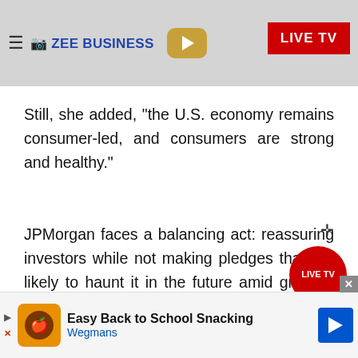ZEE BUSINESS | LIVE TV
Still, she added, "the U.S. economy remains consumer-led, and consumers are strong and healthy."
JPMorgan faces a balancing act: reassuring investors while not making pledges that are likely to haunt it in the future amid growing economic turbulence.
In the fourth quarter, JPMorgan and other big banks took a hit in their fixed-income trading operations as a market swoon kept clie
[Figure (screenshot): Ad banner: Easy Back to School Snacking - Wegmans]
Easy Back to School Snacking - Wegmans